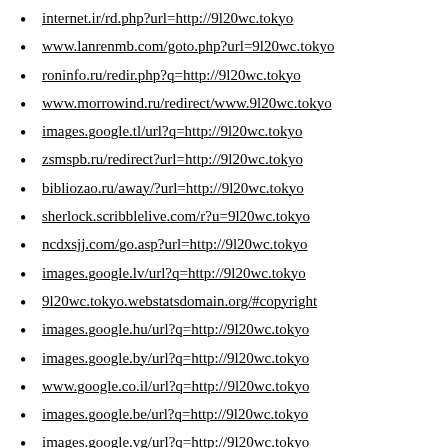internet.ir/rd.php?url=http://9l20wc.tokyo
www.lanrenmb.com/goto.php?url=9l20wc.tokyo
roninfo.ru/redir.php?q=http://9l20wc.tokyo
www.morrowind.ru/redirect/www.9l20wc.tokyo
images.google.tl/url?q=http://9l20wc.tokyo
zsmspb.ru/redirect?url=http://9l20wc.tokyo
bibliozao.ru/away/?url=http://9l20wc.tokyo
sherlock.scribblelive.com/r?u=9l20wc.tokyo
ncdxsjj.com/go.asp?url=http://9l20wc.tokyo
images.google.lv/url?q=http://9l20wc.tokyo
9l20wc.tokyo.webstatsdomain.org/#copyright
images.google.hu/url?q=http://9l20wc.tokyo
images.google.by/url?q=http://9l20wc.tokyo
www.google.co.il/url?q=http://9l20wc.tokyo
images.google.be/url?q=http://9l20wc.tokyo
images.google.vg/url?q=http://9l20wc.tokyo
www.google.co.hu/url?q=http://9l20wc.tokyo
images.google.td/url?q=http://9l20wc.tokyo
images.google.dm/url?q=http://9l20wc.tokyo